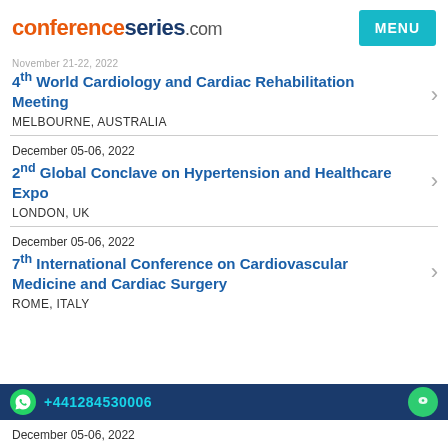conferenceseries.com
November 21-22, 2022 | 4th World Cardiology and Cardiac Rehabilitation Meeting | MELBOURNE, AUSTRALIA
December 05-06, 2022 | 2nd Global Conclave on Hypertension and Healthcare Expo | LONDON, UK
December 05-06, 2022 | 7th International Conference on Cardiovascular Medicine and Cardiac Surgery | ROME, ITALY
December 05-06, 2022